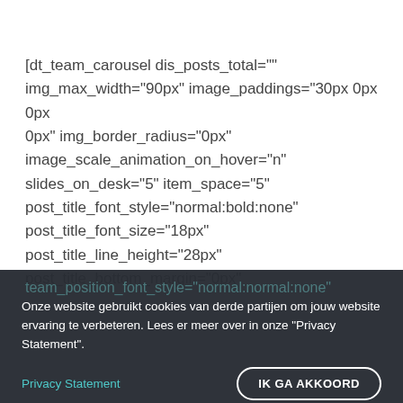[dt_team_carousel dis_posts_total="" img_max_width="90px" image_paddings="30px 0px 0px 0px" img_border_radius="0px" image_scale_animation_on_hover="n" slides_on_desk="5" item_space="5" post_title_font_style="normal:bold:none" post_title_font_size="18px" post_title_line_height="28px" post_title_bottom_margin="0px"
team_position_font_style="normal:normal:none"
Onze website gebruikt cookies van derde partijen om jouw website ervaring te verbeteren. Lees er meer over in onze "Privacy Statement".
Privacy Statement
IK GA AKKOORD